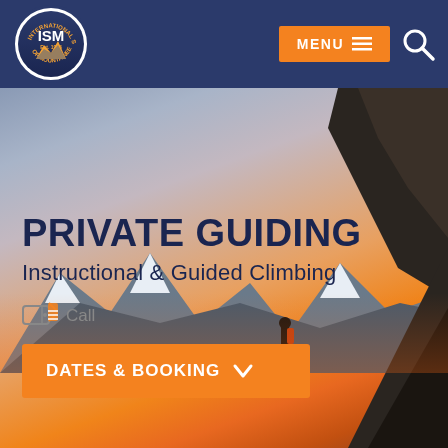ISM — International School of Mountaineering
[Figure (photo): Hero image of mountaineer silhouetted against orange sunset sky, viewed from inside a rock cave/overhang, with snow-covered mountain peaks in the background]
PRIVATE GUIDING
Instructional & Guided Climbing
Call
DATES & BOOKING